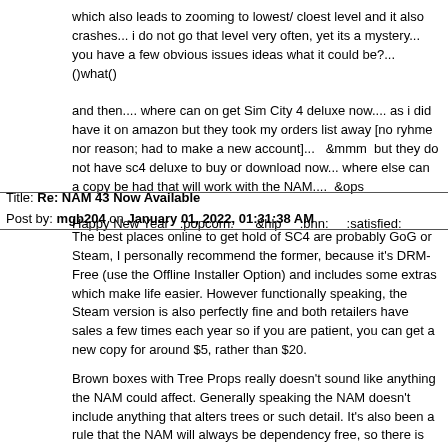which also leads to zooming to lowest/ cloest level and it also crashes... i do not go that level very often, yet its a mystery... you have a few obvious issues ideas what it could be?...  ()what()

and then.... where can on get Sim City 4 deluxe now.... as i did have it on amazon but they took my orders list away [no ryhme nor reason; had to make a new account]...   &mmm  but they do not have sc4 deluxe to buy or download now... where else can a copy be had that will work with the NAM....  &ops

Happy New Year   :popcorn:      &hlp     :bnn:     :satisfied:
Title: Re: NAM 43 Now Available
Post by: mgb204 on January 01, 2022, 01:31:38 AM
The best places online to get hold of SC4 are probably GoG or Steam, I personally recommend the former, because it's DRM-Free (use the Offline Installer Option) and includes some extras which make life easier. However functionally speaking, the Steam version is also perfectly fine and both retailers have sales a few times each year so if you are patient, you can get a new copy for around $5, rather than $20.

Brown boxes with Tree Props really doesn't sound like anything the NAM could affect. Generally speaking the NAM doesn't include anything that alters trees or such detail. It's also been a rule that the NAM will always be dependency free, so there is no chance of users not having needed files for it to work properly. I would guess that the